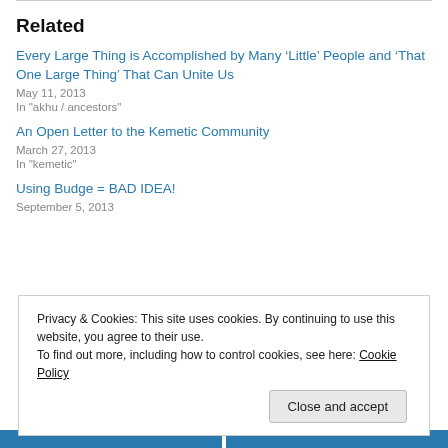Related
Every Large Thing is Accomplished by Many ‘Little’ People and ‘That One Large Thing’ That Can Unite Us
May 11, 2013
In "akhu / ancestors"
An Open Letter to the Kemetic Community
March 27, 2013
In "kemetic"
Using Budge = BAD IDEA!
September 5, 2013
Privacy & Cookies: This site uses cookies. By continuing to use this website, you agree to their use.
To find out more, including how to control cookies, see here: Cookie Policy